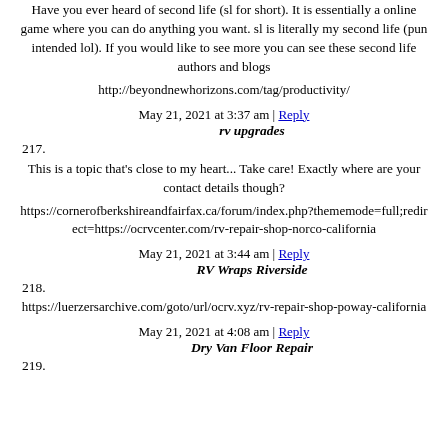Have you ever heard of second life (sl for short). It is essentially a online game where you can do anything you want. sl is literally my second life (pun intended lol). If you would like to see more you can see these second life authors and blogs
http://beyondnewhorizons.com/tag/productivity/
May 21, 2021 at 3:37 am | Reply
217. rv upgrades
This is a topic that's close to my heart... Take care! Exactly where are your contact details though?
https://cornerofberkshireandfairfax.ca/forum/index.php?thememode=full;redirect=https://ocrvcenter.com/rv-repair-shop-norco-california
May 21, 2021 at 3:44 am | Reply
218. RV Wraps Riverside
https://luerzersarchive.com/goto/url/ocrv.xyz/rv-repair-shop-poway-california
May 21, 2021 at 4:08 am | Reply
219. Dry Van Floor Repair